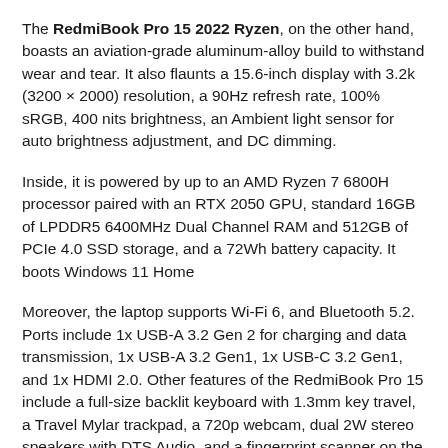The RedmiBook Pro 15 2022 Ryzen, on the other hand, boasts an aviation-grade aluminum-alloy build to withstand wear and tear. It also flaunts a 15.6-inch display with 3.2k (3200 × 2000) resolution, a 90Hz refresh rate, 100% sRGB, 400 nits brightness, an Ambient light sensor for auto brightness adjustment, and DC dimming.
Inside, it is powered by up to an AMD Ryzen 7 6800H processor paired with an RTX 2050 GPU, standard 16GB of LPDDR5 6400MHz Dual Channel RAM and 512GB of PCIe 4.0 SSD storage, and a 72Wh battery capacity. It boots Windows 11 Home
Moreover, the laptop supports Wi-Fi 6, and Bluetooth 5.2. Ports include 1x USB-A 3.2 Gen 2 for charging and data transmission, 1x USB-A 3.2 Gen1, 1x USB-C 3.2 Gen1, and 1x HDMI 2.0. Other features of the RedmiBook Pro 15 include a full-size backlit keyboard with 1.3mm key travel, a Travel Mylar trackpad, a 720p webcam, dual 2W stereo speakers with DTS Audio, and a fingerprint scanner on the power key.